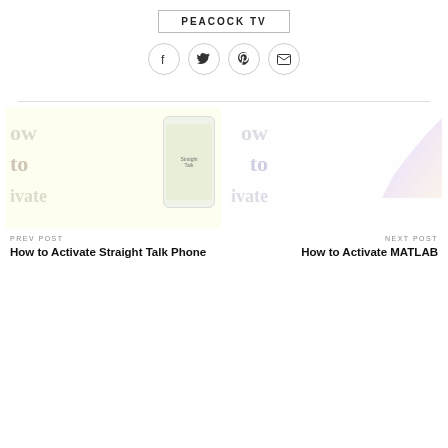PEACOCK TV
[Figure (infographic): Social share icons row: Facebook, Twitter, Pinterest, Email — each in a circle outline]
[Figure (photo): Thumbnail image for 'How to Activate Straight Talk Phone' post — yellowish background with large faded 'How to Activate' text and a phone graphic]
PREV POST
How to Activate Straight Talk Phone
[Figure (photo): Thumbnail image for 'How to Activate MATLAB' post — white/light blue background with large faded 'How to Activate' text and a colorful page-curl graphic]
NEXT POST
How to Activate MATLAB